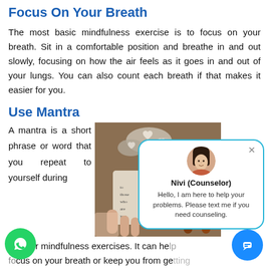Focus On Your Breath
The most basic mindfulness exercise is to focus on your breath. Sit in a comfortable position and breathe in and out slowly, focusing on how the air feels as it goes in and out of your lungs. You can also count each breath if that makes it easier for you.
Use Mantra
A mantra is a short phrase or word that you repeat to yourself during
[Figure (photo): A photo showing heart-shaped stones and a hand holding a folded paper with text, alongside prayer beads — mindfulness-related objects.]
[Figure (infographic): A chat popup overlay showing a counselor named Nivi (Counselor) with the message: Hello, I am here to help your problems. Please text me if you need counseling. There is also a WhatsApp button and a chat widget button.]
ation or mindfulness exercises. It can he focus on your breath or keep you from ge